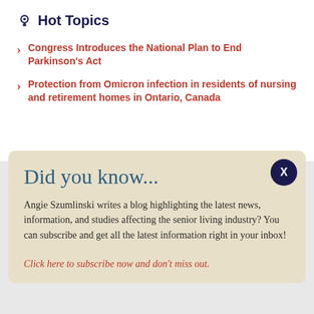Hot Topics
Congress Introduces the National Plan to End Parkinson's Act
Protection from Omicron infection in residents of nursing and retirement homes in Ontario, Canada
Did you know...
Angie Szumlinski writes a blog highlighting the latest news, information, and studies affecting the senior living industry? You can subscribe and get all the latest information right in your inbox!
Click here to subscribe now and don't miss out.